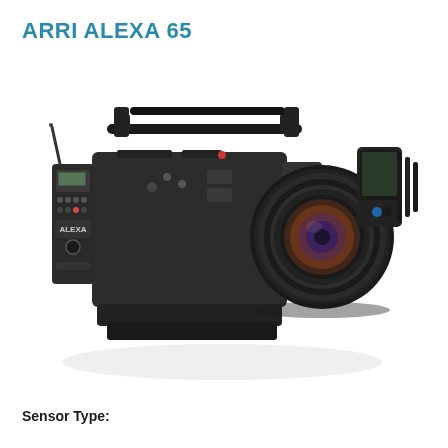ARRI ALEXA 65
[Figure (photo): ARRI ALEXA 65 professional cinema camera with large lens mounted, top handle, side control panel, and electronic viewfinder. Camera body is dark grey/black with visible controls and ALEXA branding.]
Sensor Type: